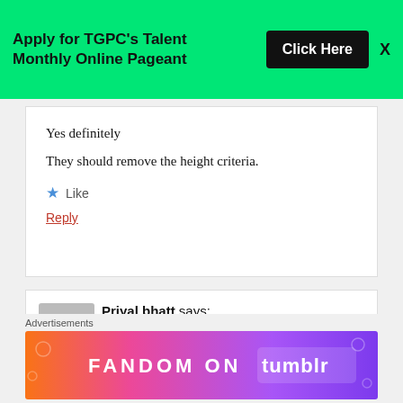[Figure (screenshot): Green banner advertisement: 'Apply for TGPC's Talent Monthly Online Pageant' with a black 'Click Here' button and an X close button]
Yes definitely
They should remove the height criteria.
Like
Reply
Priyal bhatt says:
February 29, 2020 at 12:53 am
Hello, this is priyal bhatt. The height criteria must be...
Advertisements
[Figure (screenshot): Fandom on Tumblr advertisement banner with colorful gradient background (orange, pink, purple) and white text 'FANDOM ON tumblr']